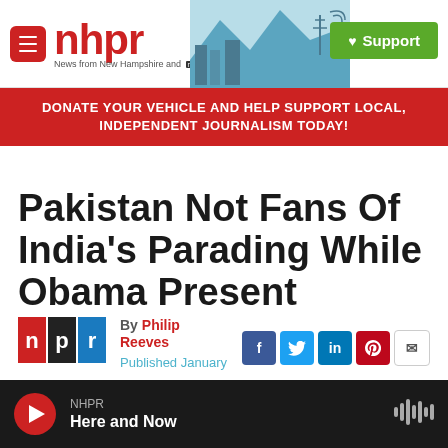nhpr - News from New Hampshire and NPR | Support
DONATE YOUR VEHICLE AND HELP SUPPORT LOCAL, INDEPENDENT JOURNALISM TODAY!
Pakistan Not Fans Of India's Parading While Obama Present
By Philip Reeves
Published January
NHPR Here and Now